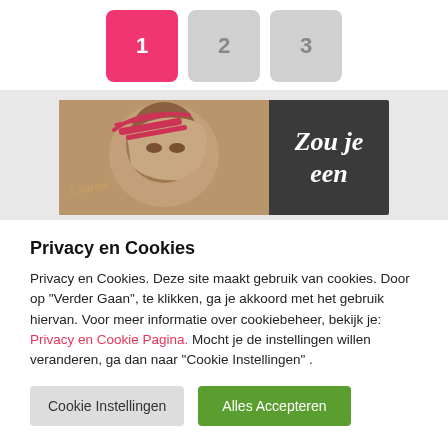[Figure (infographic): Pagination buttons: button 1 active (pink/red background, white text), buttons 2 and 3 inactive (gray background, gray text)]
[Figure (photo): Banner image showing a woman with a red headband on a vintage-style photo on the left, and a dark gray box on the right with white italic text reading 'Zou je een']
Privacy en Cookies
Privacy en Cookies. Deze site maakt gebruik van cookies. Door op "Verder Gaan", te klikken, ga je akkoord met het gebruik hiervan. Voor meer informatie over cookiebeheer, bekijk je: Privacy en Cookie Pagina. Mocht je de instellingen willen veranderen, ga dan naar "Cookie Instellingen" .
Cookie Instellingen | Alles Accepteren